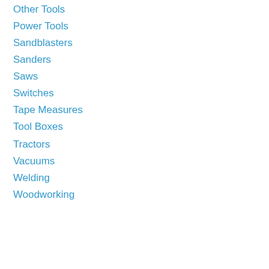Other Tools
Power Tools
Sandblasters
Sanders
Saws
Switches
Tape Measures
Tool Boxes
Tractors
Vacuums
Welding
Woodworking